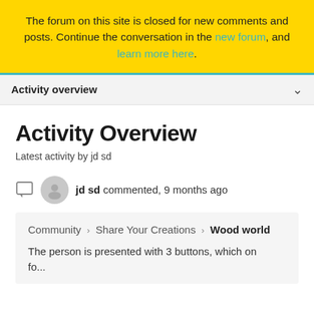The forum on this site is closed for new comments and posts. Continue the conversation in the new forum, and learn more here.
Activity overview
Activity Overview
Latest activity by jd sd
jd sd commented, 9 months ago
Community › Share Your Creations › Wood world
The person is presented with 3 buttons, which on fo...